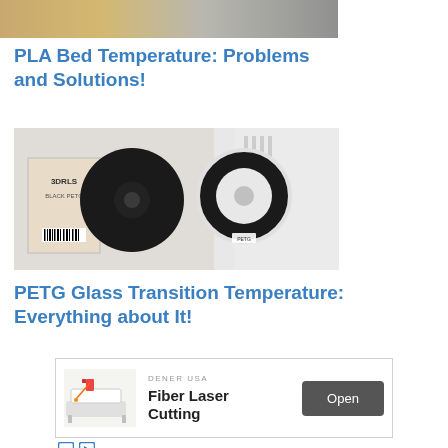[Figure (photo): Partial top image of a 3D printer or related device, showing a tan/gold colored object against a mechanical background]
PLA Bed Temperature: Problems and Solutions!
[Figure (photo): 3D printer filament spools (black PETG filament) next to a white 3D printer machine with 3DRLS branded spool boxes visible]
PETG Glass Transition Temperature: Everything about It!
[Figure (other): Advertisement banner: DENER USA - Fiber Laser Cutting, with image of laser cutting machine and Open button]